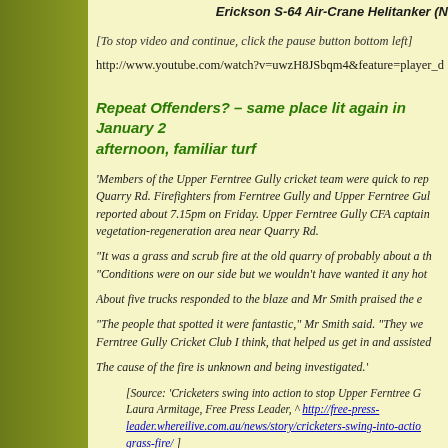Erickson S-64 Air-Crane Helitanker (N
[To stop video and continue, click the pause button bottom left]
http://www.youtube.com/watch?v=uwzH8JSbqm4&feature=player_d
Repeat Offenders?  – same place lit again in January 2 afternoon, familiar turf
'Members of the Upper Ferntree Gully cricket team were quick to rep Quarry Rd.  Firefighters from Ferntree Gully and Upper Ferntree Gul reported about 7.15pm on Friday.  Upper Ferntree Gully CFA captain vegetation-regeneration area near Quarry Rd.
"It was a grass and scrub fire at the old quarry of probably about a th "Conditions were on our side but we wouldn't have wanted it any hot
About five trucks responded to the blaze and Mr Smith praised the e
"The people that spotted it were fantastic," Mr Smith said.  "They we Ferntree Gully Cricket Club I think, that helped us get in and assisted
The cause of the fire is unknown and being investigated.'
[Source:  'Cricketers swing into action to stop Upper Ferntree G Laura Armitage, Free Press Leader, ^ http://free-press-leader.whereilive.com.au/news/story/cricketers-swing-into-actio grass-fire/ ]